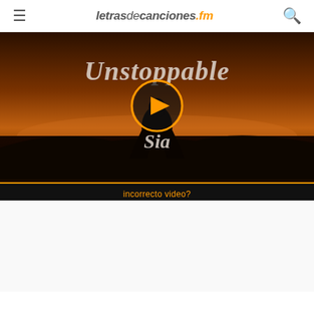letrasdecanciones.fm
[Figure (screenshot): Video thumbnail for 'Unstoppable' by Sia showing cursive title text and artist name over a dark sunset silhouette background, with an orange play button circle in the center]
incorrecto video?
[Figure (other): Advertisement area below the video]